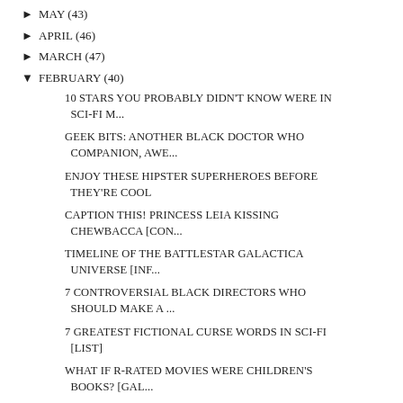MAY (43)
APRIL (46)
MARCH (47)
FEBRUARY (40)
10 STARS YOU PROBABLY DIDN'T KNOW WERE IN SCI-FI M...
GEEK BITS: ANOTHER BLACK DOCTOR WHO COMPANION, AWE...
ENJOY THESE HIPSTER SUPERHEROES BEFORE THEY'RE COOL
CAPTION THIS! PRINCESS LEIA KISSING CHEWBACCA [CON...
TIMELINE OF THE BATTLESTAR GALACTICA UNIVERSE [INF...
7 CONTROVERSIAL BLACK DIRECTORS WHO SHOULD MAKE A ...
7 GREATEST FICTIONAL CURSE WORDS IN SCI-FI [LIST]
WHAT IF R-RATED MOVIES WERE CHILDREN'S BOOKS? [GAL...